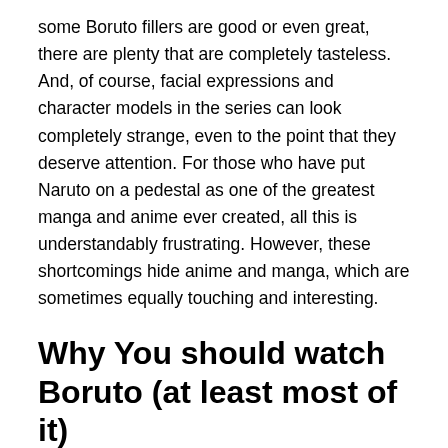some Boruto fillers are good or even great, there are plenty that are completely tasteless. And, of course, facial expressions and character models in the series can look completely strange, even to the point that they deserve attention. For those who have put Naruto on a pedestal as one of the greatest manga and anime ever created, all this is understandably frustrating. However, these shortcomings hide anime and manga, which are sometimes equally touching and interesting.
Why You should watch Boruto (at least most of it)
The above disadvantages are significant disadvantages and should not be taken lightly. But Boruto is still worth a look. Firstly, it is important to note that the Boruto filler, as a rule,